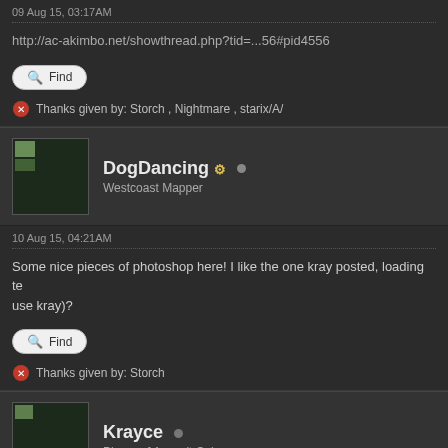09 Aug 15, 03:17AM
http://ac-akimbo.net/showthread.php?tid=...56#pid4556
Find
Thanks given by: Storch , Nightmare , starix/A/
DogDancing
Westcoast Mapper
10 Aug 15, 04:21AM
Some nice pieces of photoshop here! I like the one kray posted, loading te... use kray)?
Find
Thanks given by: Storch
Krayce
Player of Assault Cube
10 Aug 15, 04:11PM